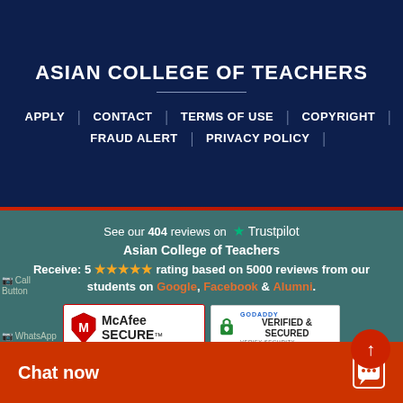ASIAN COLLEGE OF TEACHERS
APPLY
CONTACT
TERMS OF USE
COPYRIGHT
FRAUD ALERT
PRIVACY POLICY
See our 404 reviews on Trustpilot
Asian College of Teachers
Receive: 5 ★★★★★ rating based on 5000 reviews from our students on Google, Facebook & Alumni.
[Figure (logo): McAfee SECURE badge]
[Figure (logo): GoDaddy Verified & Secured badge]
Call Button
© 2022 Asian College of Teachers   All Rights Reserved   Privacy Policy
WhatsApp Button
© 2022 Asian College of Teachers... College Of Teachers is a
Chat now